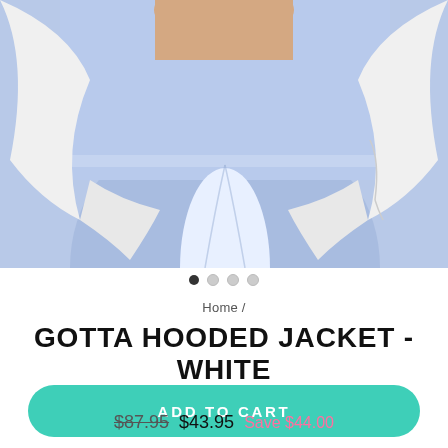[Figure (photo): Product photo showing blue/periwinkle high-waist leggings worn with a white hooded jacket, cropped at torso level]
Home /
GOTTA HOODED JACKET - WHITE
ADD TO CART
$87.95  $43.95  Save $44.00